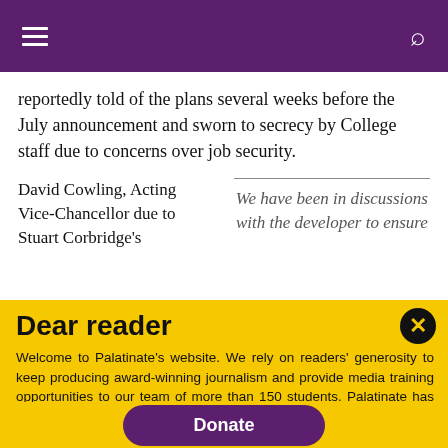Palatinate — navigation bar with menu and search icons
reportedly told of the plans several weeks before the July announcement and sworn to secrecy by College staff due to concerns over job security.
David Cowling, Acting Vice-Chancellor due to Stuart Corbridge's
We have been in discussions with the developer to ensure
Dear reader
Welcome to Palatinate's website. We rely on readers' generosity to keep producing award-winning journalism and provide media training opportunities to our team of more than 150 students. Palatinate has produced some of the biggest names in British media, from Jeremy Vine to the late great Sir Harold Evans. Every contribution to Palatinate is an investment into the future of journalism.
Donate